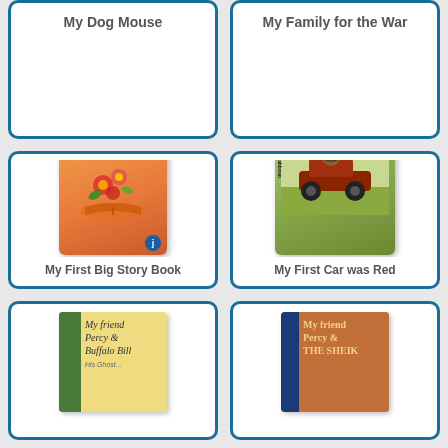My Dog Mouse
My Family for the War
[Figure (illustration): Book cover of My First Big Story Book by Richard Bamberger, showing a colorful open book with flowers and characters]
My First Big Story Book
[Figure (illustration): Book cover of My First Car was Red by Peter Bahbman, showing a child driving a vintage red car with birds]
My First Car was Red
[Figure (illustration): Book cover of My friend Percy & Buffalo Bill, tan cover with green spine]
[Figure (illustration): Book cover of My friend Percy & THE SHEIK, brown cover with blue spine]